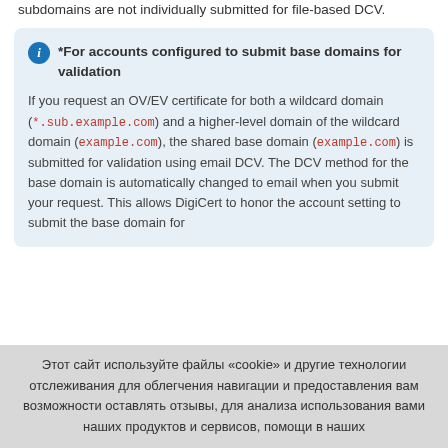subdomains are not individually submitted for file-based DCV.
*For accounts configured to submit base domains for validation

If you request an OV/EV certificate for both a wildcard domain (*.sub.example.com) and a higher-level domain of the wildcard domain (example.com), the shared base domain (example.com) is submitted for validation using email DCV. The DCV method for the base domain is automatically changed to email when you submit your request. This allows DigiCert to honor the account setting to submit the base domain for
Этот сайт используйте файлы «cookie» и другие технологии отслеживания для облегчения навигации и предоставления вам возможности оставлять отзывы, для анализа использования вами наших продуктов и сервисов, помощи в наших